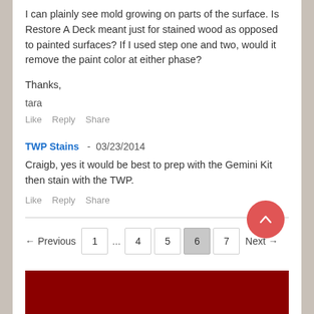I can plainly see mold growing on parts of the surface. Is Restore A Deck meant just for stained wood as opposed to painted surfaces? If I used step one and two, would it remove the paint color at either phase?
Thanks,
tara
Like   Reply   Share
TWP Stains  -  03/23/2014
Craigb, yes it would be best to prep with the Gemini Kit then stain with the TWP.
Like   Reply   Share
← Previous   1   ...   4   5   6   7   Next →